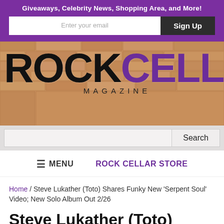Giveaways, Celebrity News, Shopping Area, and More!
[Figure (logo): Rock Cellar Magazine logo on brick background texture]
Search
≡ MENU   ROCK CELLAR STORE
Home / Steve Lukather (Toto) Shares Funky New 'Serpent Soul' Video; New Solo Album Out 2/26
Steve Lukather (Toto)